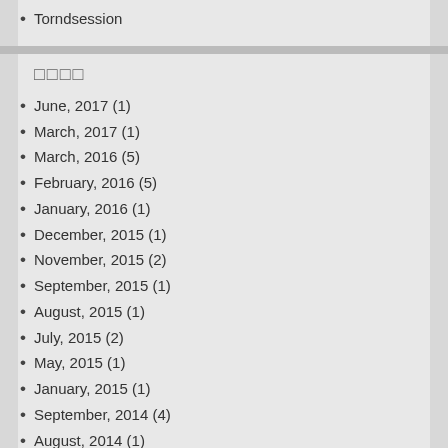Torndsession
□□□□
June, 2017 (1)
March, 2017 (1)
March, 2016 (5)
February, 2016 (5)
January, 2016 (1)
December, 2015 (1)
November, 2015 (2)
September, 2015 (1)
August, 2015 (1)
July, 2015 (2)
May, 2015 (1)
January, 2015 (1)
September, 2014 (4)
August, 2014 (1)
July, 2014 (2)
June, 2014 (6)
May, 2014 (9)
April, 2014 (7)